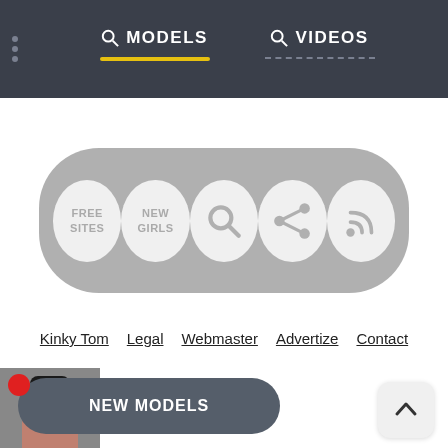MODELS  VIDEOS
[Figure (infographic): A horizontal pill-shaped gray button bar containing five circular icon buttons: FREE SITES, NEW GIRLS, a search icon, a share icon, and an RSS/feed icon]
Kinky Tom   Legal   Webmaster   Advertize   Contact
[Figure (infographic): Bottom notification bar with a red dot, a thumbnail photo of a woman, a dark pill button labeled NEW MODELS, and a scroll-to-top arrow button on the right]